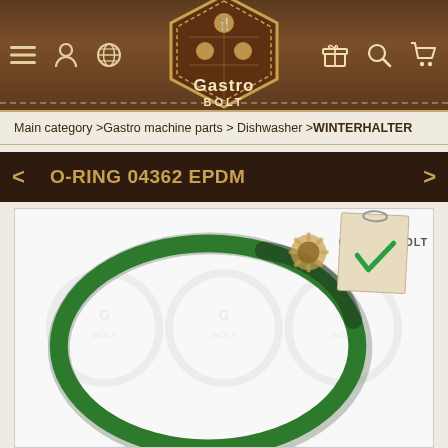[Figure (logo): Gastro Bolt website header with logo hexagon, navigation icons (hamburger menu, user, globe, gift box, search, cart) on a dark brown leather-textured background]
Main category > Gastro machine parts > Dishwasher > WINTERHALTER
O-RING 04362 EPDM
[Figure (photo): Green EPDM O-ring (04362) on white background with Gastro Bolt watermark logo and a sticky note with green checkmark in upper right corner]